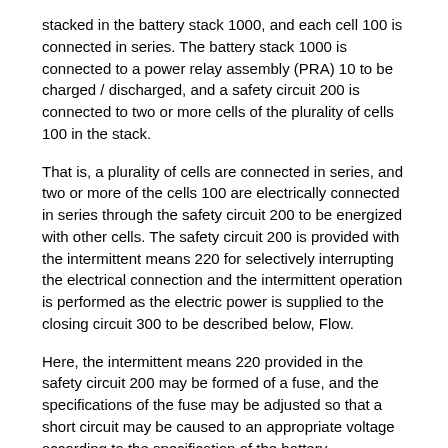stacked in the battery stack 1000, and each cell 100 is connected in series. The battery stack 1000 is connected to a power relay assembly (PRA) 10 to be charged / discharged, and a safety circuit 200 is connected to two or more cells of the plurality of cells 100 in the stack.
That is, a plurality of cells are connected in series, and two or more of the cells 100 are electrically connected in series through the safety circuit 200 to be energized with other cells. The safety circuit 200 is provided with the intermittent means 220 for selectively interrupting the electrical connection and the intermittent operation is performed as the electric power is supplied to the closing circuit 300 to be described below, Flow.
Here, the intermittent means 220 provided in the safety circuit 200 may be formed of a fuse, and the specifications of the fuse may be adjusted so that a short circuit may be caused to an appropriate voltage according to the specification of the battery.
The cell 100 connected to the safety circuit 200 is connected in parallel to the cell 100 including the safety circuit 200 and the switching means 320 and the cell 200...